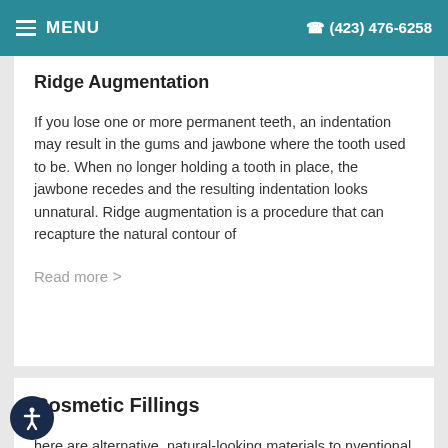MENU  (423) 476-6258
Ridge Augmentation
If you lose one or more permanent teeth, an indentation may result in the gums and jawbone where the tooth used to be. When no longer holding a tooth in place, the jawbone recedes and the resulting indentation looks unnatural. Ridge augmentation is a procedure that can recapture the natural contour of
Read more >
Cosmetic Fillings
here are alternative, natural-looking materials to nventional silver-colored fillings – materials made from porcelain and composite resins, which are colored to